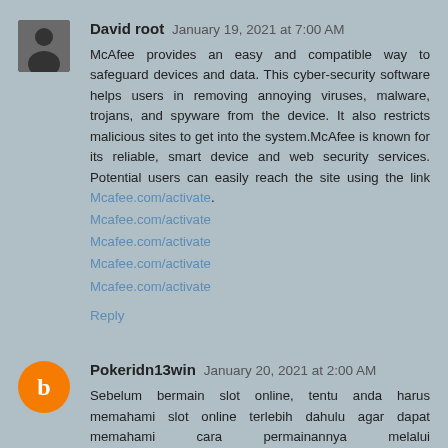[Figure (photo): Avatar photo of David root - grayscale silhouette of a person]
David root  January 19, 2021 at 7:00 AM
McAfee provides an easy and compatible way to safeguard devices and data. This cyber-security software helps users in removing annoying viruses, malware, trojans, and spyware from the device. It also restricts malicious sites to get into the system.McAfee is known for its reliable, smart device and web security services. Potential users can easily reach the site using the link Mcafee.com/activate.
Mcafee.com/activate
Mcafee.com/activate
Mcafee.com/activate
Mcafee.com/activate
Reply
[Figure (logo): Blogger orange circle B logo avatar for Pokeridn13win]
Pokeridn13win  January 20, 2021 at 2:00 AM
Sebelum bermain slot online, tentu anda harus memahami slot online terlebih dahulu agar dapat memahami cara permainannya melalui http://lithiummining.org/balakslot-